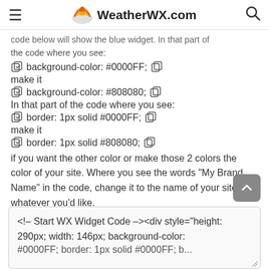WeatherWX.com
code below will show the blue widget. In that part of the code where you see:
background-color: #0000FF;
make it
background-color: #808080;
In that part of the code where you see:
border: 1px solid #0000FF;
make it
border: 1px solid #808080;
if you want the other color or make those 2 colors the color of your site. Where you see the words "My Brand Name" in the code, change it to the name of your site or whatever you'd like.
<!-- Start WX Widget Code --><div style="height: 290px; width: 146px; background-color: #0000FF; border: 1px solid #0000FF; b...